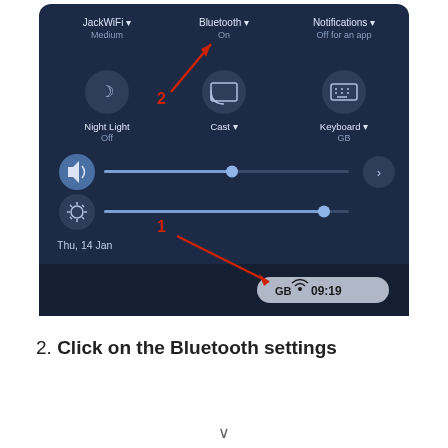[Figure (screenshot): Android quick settings panel showing JackWiFi (Medium), Bluetooth (On), Notifications (Off for an app), Night Light (Off), Cast, Keyboard (GB), volume slider, brightness slider, date Thu 14 Jan, and status bar showing GB wifi icon and time 09:19. Red arrows annotated with numbers 1 and 2 point to the brightness slider/status bar and Bluetooth On label respectively.]
2. Click on the Bluetooth settings